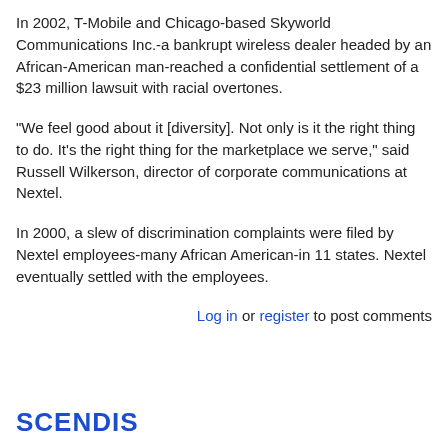In 2002, T-Mobile and Chicago-based Skyworld Communications Inc.-a bankrupt wireless dealer headed by an African-American man-reached a confidential settlement of a $23 million lawsuit with racial overtones.
"We feel good about it [diversity]. Not only is it the right thing to do. It's the right thing for the marketplace we serve," said Russell Wilkerson, director of corporate communications at Nextel.
In 2000, a slew of discrimination complaints were filed by Nextel employees-many African American-in 11 states. Nextel eventually settled with the employees.
Log in or register to post comments
SCENDIS